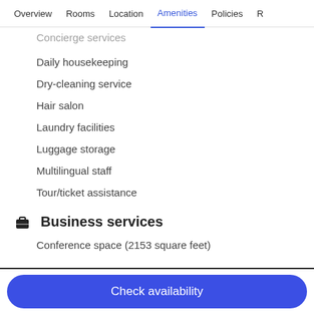Overview | Rooms | Location | Amenities | Policies | R
Concierge services
Daily housekeeping
Dry-cleaning service
Hair salon
Laundry facilities
Luggage storage
Multilingual staff
Tour/ticket assistance
Business services
Conference space (2153 square feet)
Outdoors
Beach loungers
Beach umbrellas
Check availability